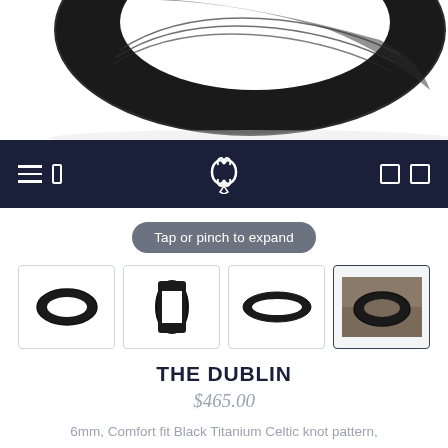[Figure (photo): Close-up photo of a black titanium ring (The Dublin) from above, showing Celtic knot pattern detail]
[Figure (screenshot): Navigation bar with hamburger menu, logo icon, and two square icons on dark navy background]
Tap or pinch to expand
[Figure (photo): Four thumbnail images of The Dublin ring: front angle, side profile, top-down flat view, and lifestyle photo on stone surface]
THE DUBLIN
$465.00
6mm, Comfort fit Black Titanium Celtic knot pattern, milgrain detailing, polished round edges
Ring Size
7.5